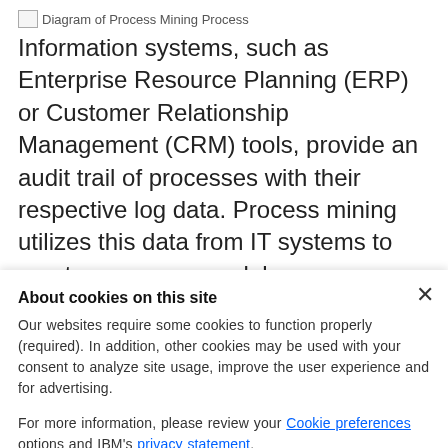[Figure (illustration): Small broken image icon placeholder labeled 'Diagram of Process Mining Process']
Information systems, such as Enterprise Resource Planning (ERP) or Customer Relationship Management (CRM) tools, provide an audit trail of processes with their respective log data. Process mining utilizes this data from IT systems to create a process model, or process graph. From here, the end-to-end process is examined, and the details of it
About cookies on this site
Our websites require some cookies to function properly (required). In addition, other cookies may be used with your consent to analyze site usage, improve the user experience and for advertising.
For more information, please review your Cookie preferences options and IBM's privacy statement.